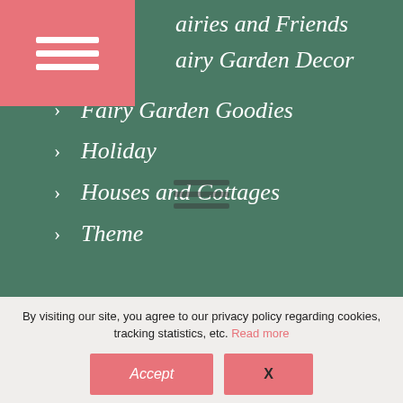[Figure (screenshot): Pink hamburger menu button with three white horizontal lines in top left corner]
airies and Friends
airy Garden Decor
Fairy Garden Goodies
Holiday
Houses and Cottages
Theme
[Figure (screenshot): Small centered hamburger menu icon with three dark lines on green background]
By visiting our site, you agree to our privacy policy regarding cookies, tracking statistics, etc. Read more
Accept
X